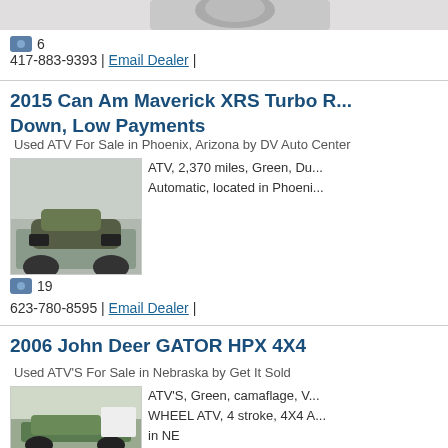[Figure (photo): Partial top image of a vehicle/animal, cropped at top of page]
📷 6
417-883-9393 | Email Dealer |
2015 Can Am Maverick XRS Turbo R... Down, Low Payments
Used ATV For Sale in Phoenix, Arizona by DV Auto Center
[Figure (photo): Green/black 2015 Can Am Maverick XRS Turbo ATV photo]
ATV, 2,370 miles, Green, Du... Automatic, located in Phoeni...
📷 19
623-780-8595 | Email Dealer |
2006 John Deer GATOR HPX 4X4
Used ATV'S For Sale in Nebraska by Get It Sold
[Figure (photo): Green 2006 John Deere Gator HPX 4X4 ATV photo]
ATV'S, Green, camaflage, V... WHEEL ATV, 4 stroke, 4X4 A... in NE